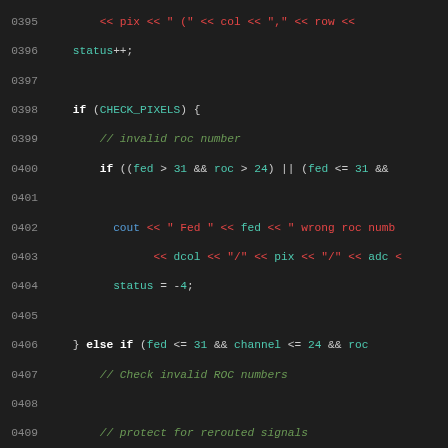[Figure (screenshot): Source code listing (C++) with line numbers 0395-0424, dark background IDE style, showing pixel/ROC validation logic with colored syntax highlighting]